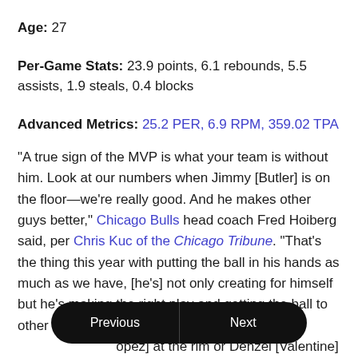Age: 27
Per-Game Stats: 23.9 points, 6.1 rebounds, 5.5 assists, 1.9 steals, 0.4 blocks
Advanced Metrics: 25.2 PER, 6.9 RPM, 359.02 TPA
"A true sign of the MVP is what your team is without him. Look at our numbers when Jimmy [Butler] is on the floor—we're really good. And he makes other guys better," Chicago Bulls head coach Fred Hoiberg said, per Chris Kuc of the Chicago Tribune. "That's the thing this year with putting the ball in his hands as much as we have, [he's] not only creating for himself but he's making the right play and getting the ball to other guys and setting them up for eas[y baskets. Whether that's Lopez] at the rim or Denzel [Valentine] in the corner, making good,